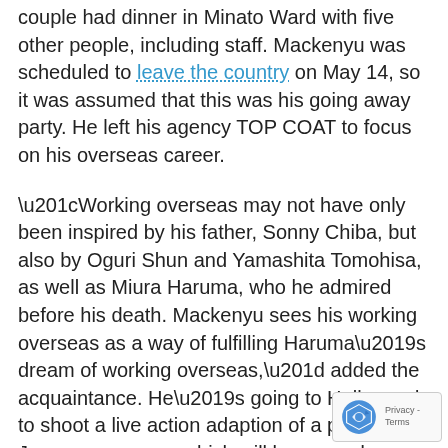couple had dinner in Minato Ward with five other people, including staff. Mackenyu was scheduled to leave the country on May 14, so it was assumed that this was his going away party. He left his agency TOP COAT to focus on his overseas career.
“Working overseas may not have only been inspired by his father, Sonny Chiba, but also by Oguri Shun and Yamashita Tomohisa, as well as Miura Haruma, who he admired before his death. Mackenyu sees his working overseas as a way of fulfilling Haruma’s dream of working overseas,” added the acquaintance. He’s going to Hollywood to shoot a live action adaption of a popular Japanese manga, which will be second or third role there.”
This acquaintance also said that A-san will move overseas to be with Mackenyu later. He’s told his close friends that he wants to marry A-san. He